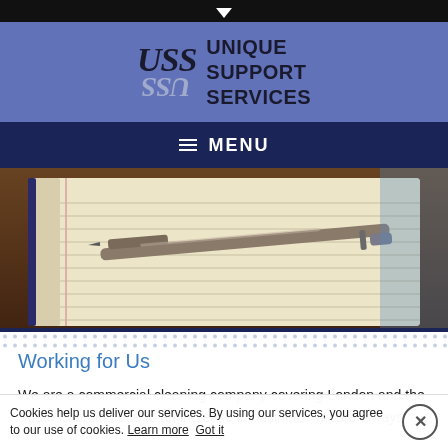[Figure (logo): USS Unique Support Services logo with stylized USS text and mirror reflection on blue-purple header background]
MENU
[Figure (photo): Close-up photo of an open lined notebook with a silver pen resting on it on a dark wooden surface]
Working for Us
We are a commercial cleaning company covering London and the South East and due to an increase in business, we are always
Cookies help us deliver our services. By using our services, you agree to our use of cookies. Learn more Got it